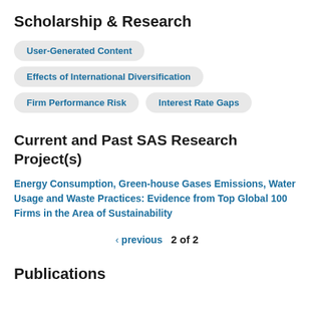Scholarship & Research
User-Generated Content
Effects of International Diversification
Firm Performance Risk
Interest Rate Gaps
Current and Past SAS Research Project(s)
Energy Consumption, Green-house Gases Emissions, Water Usage and Waste Practices: Evidence from Top Global 100 Firms in the Area of Sustainability
‹ previous   2 of 2
Publications